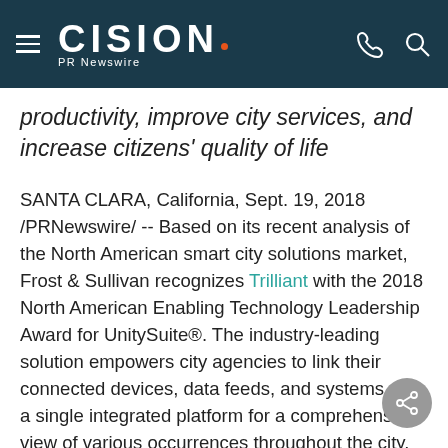CISION PR Newswire
productivity, improve city services, and increase citizens' quality of life
SANTA CLARA, California, Sept. 19, 2018 /PRNewswire/ -- Based on its recent analysis of the North American smart city solutions market, Frost & Sullivan recognizes Trilliant with the 2018 North American Enabling Technology Leadership Award for UnitySuite®. The industry-leading solution empowers city agencies to link their connected devices, data feeds, and systems onto a single integrated platform for a comprehensive view of various occurrences throughout the city.